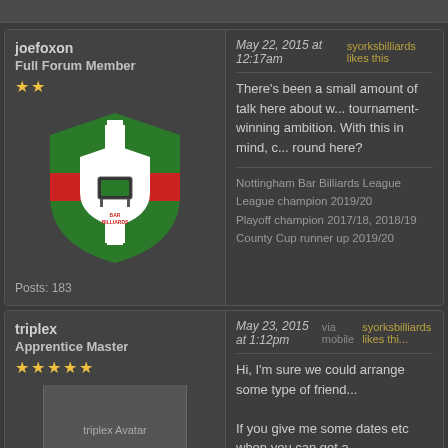joefoxon
Full Forum Member
Posts: 183
May 22, 2015 at 12:17am   syorksbilliards likes this

There's been a small amount of talk here about w... tournament-winning ambition. With this in mind, c... round here?
Nottingham Bar Billiards League
League champion 2019/20
Playoff champion 2017/18, 2018/19
County Cup runner up 2019/20
triplex
Apprentice Master
May 23, 2015 at 1:12pm   via mobile   syorksbilliards likes thi...

Hi, I'm sure we could arrange some type of friend...

If you give me some dates etc when you can get a...

Cheers

Si.
[Figure (logo): Nottingham Bar Billiards shield logo - green background with red cross, white shield shape, billiards table icon in center]